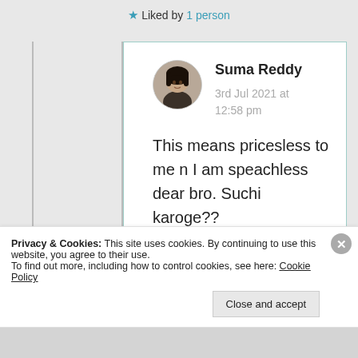★ Liked by 1 person
Suma Reddy
3rd Jul 2021 at 12:58 pm
This means pricesless to me n I am speachless dear bro. Suchi karoge??
Privacy & Cookies: This site uses cookies. By continuing to use this website, you agree to their use.
To find out more, including how to control cookies, see here: Cookie Policy
Close and accept